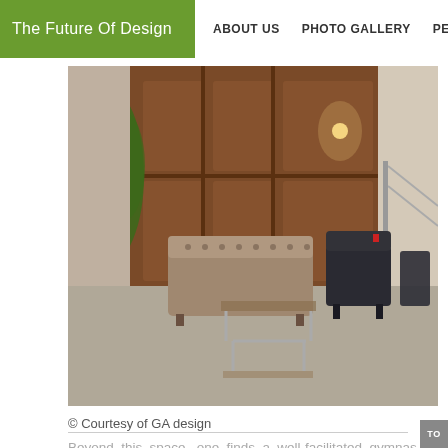The Future Of Design   ABOUT US   PHOTO GALLERY   PEOPLE
[Figure (photo): Interior lounge/lobby area with a tufted beige sofa, two dark leather armchairs, a glass-and-metal coffee table, potted trees, and a decorative wood-paneled wall with warm lighting.]
© Courtesy of GA design
Beyond this space, one finds a well-facilitated gymnas... youthful vibe has been infused into the gym décor by...